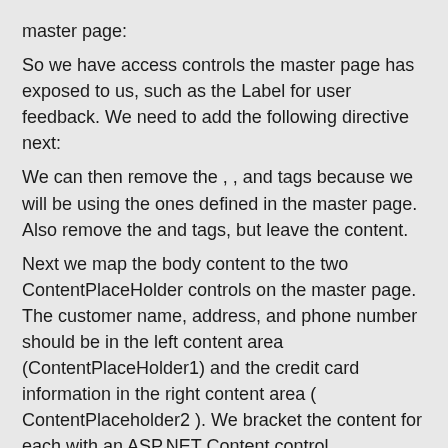master page:
So we have access controls the master page has exposed to us, such as the Label for user feedback. We need to add the following directive next:
We can then remove the , , and tags because we will be using the ones defined in the master page. Also remove the and tags, but leave the content.
Next we map the body content to the two ContentPlaceHolder controls on the master page. The customer name, address, and phone number should be in the left content area (ContentPlaceHolder1) and the credit card information in the right content area ( ContentPlaceholder2 ). We bracket the content for each with an ASP.NET Content control.
Before the Label control for the customer's first name